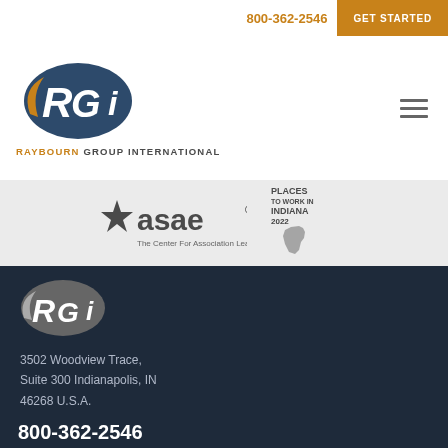800-362-2546  GET STARTED
[Figure (logo): Raybourn Group International RGI oval logo in dark teal/blue and gold]
RAYBOURN GROUP INTERNATIONAL
[Figure (logo): ASAE The Center For Association Leadership logo]
[Figure (logo): Places To Work In Indiana 2022 badge with Indiana state outline]
[Figure (logo): RGI oval logo in grayscale for footer]
3502 Woodview Trace, Suite 300 Indianapolis, IN 46268 U.S.A.
800-362-2546